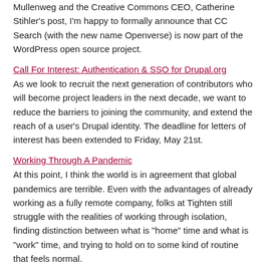Mullenweg and the Creative Commons CEO, Catherine Stihler's post, I'm happy to formally announce that CC Search (with the new name Openverse) is now part of the WordPress open source project.
Call For Interest: Authentication & SSO for Drupal.org
As we look to recruit the next generation of contributors who will become project leaders in the next decade, we want to reduce the barriers to joining the community, and extend the reach of a user's Drupal identity. The deadline for letters of interest has been extended to Friday, May 21st.
Working Through A Pandemic
At this point, I think the world is in agreement that global pandemics are terrible. Even with the advantages of already working as a fully remote company, folks at Tighten still struggle with the realities of working through isolation, finding distinction between what is "home" time and what is "work" time, and trying to hold on to some kind of routine that feels normal.
Best PHP Invoicing and Billing Scripts
Do you want to automate your billing and invoicing process and receive payment faster? PHP invoicing scripts will streamline your billing and invoicing process and make it more efficient. In this post,